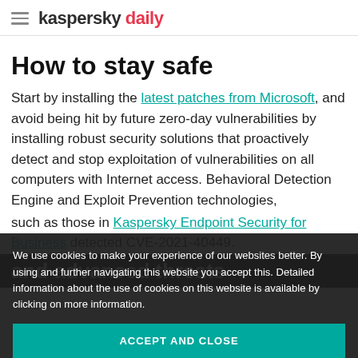kaspersky daily
How to stay safe
Start by installing the latest patches from Microsoft, and avoid being hit by future zero-day vulnerabilities by installing robust security solutions that proactively detect and stop exploitation of vulnerabilities on all computers with Internet access. Behavioral Detection Engine and Exploit Prevention technologies,
such as those in Kaspersky Endpoint Security for Business detected CVE-2021-40449.
We use cookies to make your experience of our websites better. By using and further navigating this website you accept this. Detailed information about the use of cookies on this website is available by clicking on more information.
ACCEPT AND CLOSE
and advanced threats